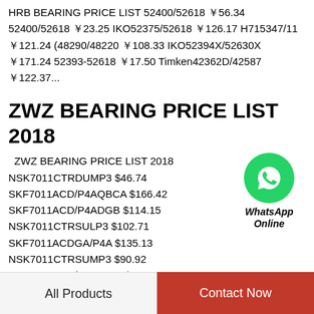HRB BEARING PRICE LIST 52400/52618 ￥56.34 52400/52618 ￥23.25 IKO52375/52618 ￥126.17 H715347/11 ￥121.24 (48290/48220 ￥108.33 IKO52394X/52630X ￥171.24 52393-52618 ￥17.50 Timken42362D/42587 ￥122.37...
ZWZ BEARING PRICE LIST 2018
ZWZ BEARING PRICE LIST 2018 NSK7011CTRDUMP3 $46.74 SKF7011ACD/P4AQBCA $166.42 SKF7011ACD/P4ADGB $114.15 NSK7011CTRSULP3 $102.71 SKF7011ACDGA/P4A $135.13 NSK7011CTRSUMP3 $90.92 SKF7011ACD/P4ATBTA $119.47...
[Figure (logo): WhatsApp Online green circle icon with phone handset, labeled WhatsApp Online]
TIMKEN PRICE LIST 2019
All Products   Contact Now